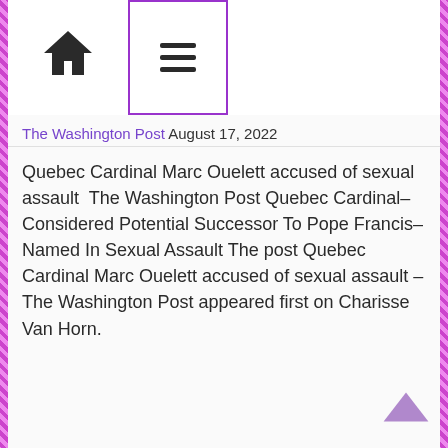[Figure (screenshot): Navigation bar with home icon and hamburger menu icon inside a purple-bordered box]
The Washington Post August 17, 2022
Quebec Cardinal Marc Ouelett accused of sexual assault  The Washington Post Quebec Cardinal–Considered Potential Successor To Pope Francis–Named In Sexual Assault The post Quebec Cardinal Marc Ouelett accused of sexual assault – The Washington Post appeared first on Charisse Van Horn.